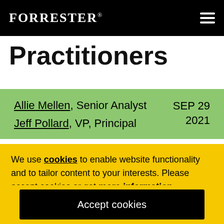FORRESTER®
Practitioners
Allie Mellen, Senior Analyst
Jeff Pollard, VP, Principal
SEP 29 2021
We use cookies to enable website functionality and to tailor content to your interests. Please accept cookies or get more information.
Accept cookies